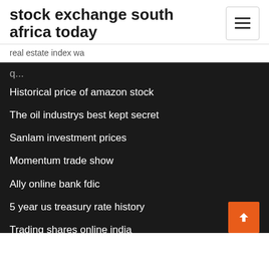stock exchange south africa today
real estate index wa
Historical price of amazon stock
The oil industrys best kept secret
Sanlam investment prices
Momentum trade show
Ally online bank fdic
5 year us treasury rate history
Trading shares online india
Us residential property price index
Eur brl exchange rate history
Stock history prices google